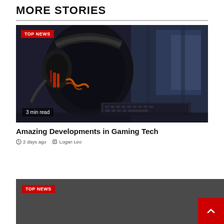MORE STORIES
[Figure (photo): Gaming headset with red LED lighting in front of a computer monitor, dark background. Badge reads 'TOP NEWS'. Read time badge reads '3 min read'.]
Amazing Developments in Gaming Tech
2 days ago   Logan Leo
[Figure (photo): Dark gray image with 'TOP NEWS' badge in red, partially visible at bottom of page. Scroll-to-top button (red with up arrow) visible at bottom right.]